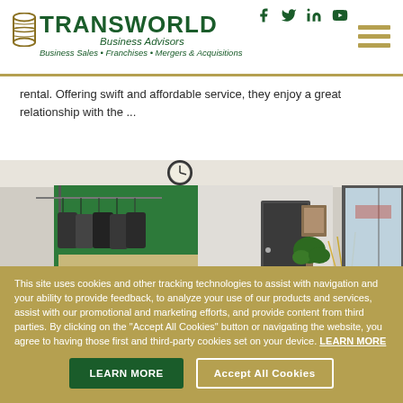[Figure (logo): Transworld Business Advisors logo with barrel icon and tagline]
[Figure (illustration): Social media icons: Facebook, Twitter, LinkedIn, YouTube in dark green]
[Figure (illustration): Hamburger menu icon with three gold horizontal bars]
rental. Offering swift and affordable service, they enjoy a great relationship with the ...
[Figure (photo): Interior of a dry cleaning or laundry retail store with green accent wall, hanging garments, dark door, potted plant, and large window to exterior]
This site uses cookies and other tracking technologies to assist with navigation and your ability to provide feedback, to analyze your use of our products and services, assist with our promotional and marketing efforts, and provide content from third parties. By clicking on the "Accept All Cookies" button or navigating the website, you agree to having those first and third-party cookies set on your device. LEARN MORE
LEARN MORE
Accept All Cookies